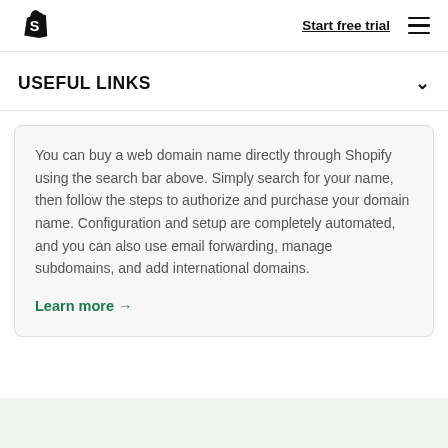Start free trial
USEFUL LINKS
You can buy a web domain name directly through Shopify using the search bar above. Simply search for your name, then follow the steps to authorize and purchase your domain name. Configuration and setup are completely automated, and you can also use email forwarding, manage subdomains, and add international domains.
Learn more →